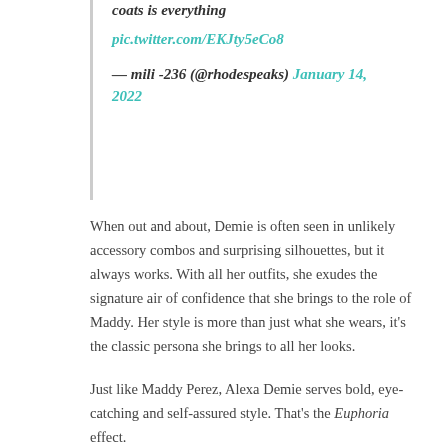coats is everything
pic.twitter.com/EKJty5eCo8
— mili -236 (@rhodespeaks) January 14, 2022
When out and about, Demie is often seen in unlikely accessory combos and surprising silhouettes, but it always works. With all her outfits, she exudes the signature air of confidence that she brings to the role of Maddy. Her style is more than just what she wears, it's the classic persona she brings to all her looks.
Just like Maddy Perez, Alexa Demie serves bold, eye-catching and self-assured style. That's the Euphoria effect.